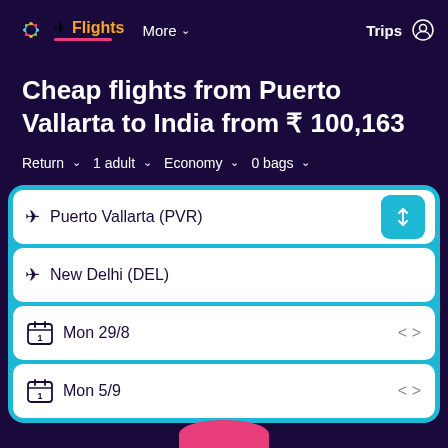✈ Flights  More  Trips
Cheap flights from Puerto Vallarta to India from ₹ 100,163
Return  1 adult  Economy  0 bags
Puerto Vallarta (PVR)
New Delhi (DEL)
Mon 29/8
Mon 5/9